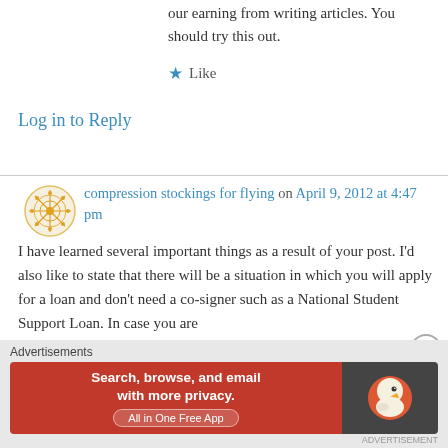our earning from writing articles. You should try this out.
★ Like
Log in to Reply
compression stockings for flying on April 9, 2012 at 4:47 pm
I have learned several important things as a result of your post. I'd also like to state that there will be a situation in which you will apply for a loan and don't need a co-signer such as a National Student Support Loan. In case you are
Advertisements
[Figure (other): DuckDuckGo advertisement banner: orange left panel with text 'Search, browse, and email with more privacy. All in One Free App' and dark right panel with DuckDuckGo logo duck icon]